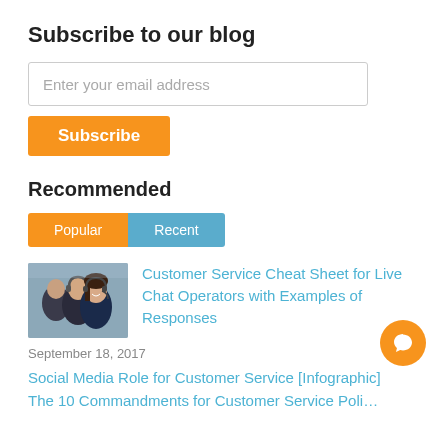Subscribe to our blog
Enter your email address
Subscribe
Recommended
Popular
Recent
[Figure (photo): Customer service representatives wearing headsets, smiling]
Customer Service Cheat Sheet for Live Chat Operators with Examples of Responses
September 18, 2017
Social Media Role for Customer Service [Infographic]
The 10 Commandments for Customer Service Poli…